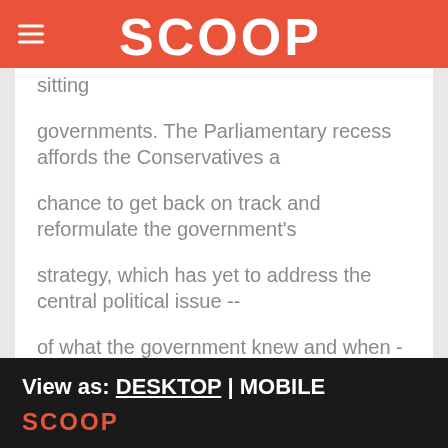SCOOP
sitting
governments. The Parliamentary recess affords the Conservatives a
chance to get back on track and reformulate the government's
strategy, which has yet to address the central political issue --
of what the government knew and when - in this affair.
JACOBSON
View as: DESKTOP | MOBILE